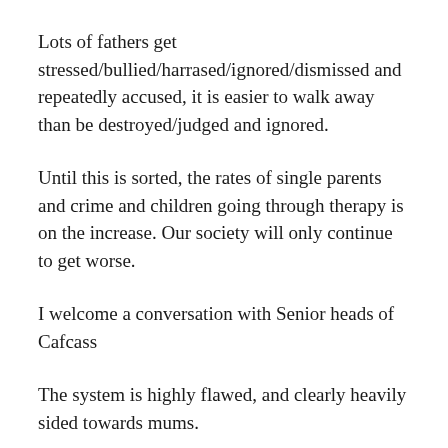Lots of fathers get stressed/bullied/harrased/ignored/dismissed and repeatedly accused, it is easier to walk away than be destroyed/judged and ignored.
Until this is sorted, the rates of single parents and crime and children going through therapy is on the increase. Our society will only continue to get worse.
I welcome a conversation with Senior heads of Cafcass
The system is highly flawed, and clearly heavily sided towards mums.